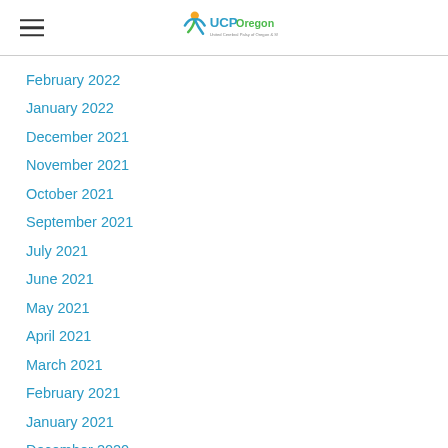UCP Oregon
February 2022
January 2022
December 2021
November 2021
October 2021
September 2021
July 2021
June 2021
May 2021
April 2021
March 2021
February 2021
January 2021
December 2020
November 2020
October 2020
September 2020
August 2020